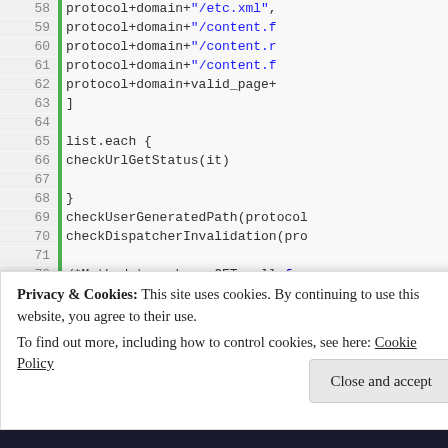[Figure (screenshot): Code editor screenshot showing Groovy/Scala code lines 58-80 with line numbers, green sidebar, and syntax highlighting. Code includes URL list entries, list.each loop with checkUrlGetStatus, checkUserGeneratedPath, checkDispatcherInvalidation, and a checkUrlGetStatus method definition with curl process execution.]
Privacy & Cookies: This site uses cookies. By continuing to use this website, you agree to their use.
To find out more, including how to control cookies, see here: Cookie Policy
[Close and accept]